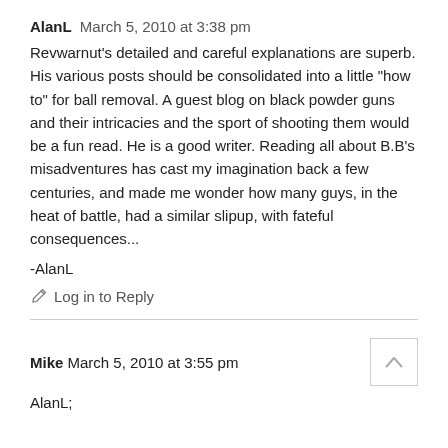AlanL  March 5, 2010 at 3:38 pm
Revwarnut's detailed and careful explanations are superb. His various posts should be consolidated into a little "how to" for ball removal. A guest blog on black powder guns and their intricacies and the sport of shooting them would be a fun read. He is a good writer. Reading all about B.B's misadventures has cast my imagination back a few centuries, and made me wonder how many guys, in the heat of battle, had a similar slipup, with fateful consequences...
-AlanL
Log in to Reply
Mike  March 5, 2010 at 3:55 pm
AlanL;